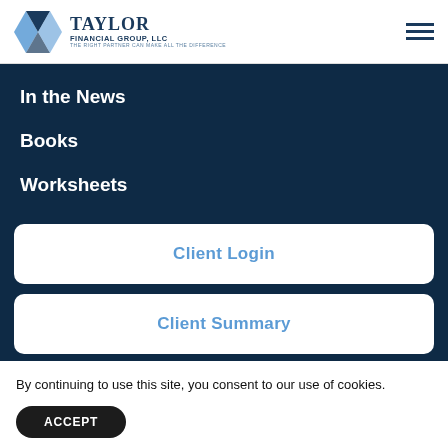Taylor Financial Group, LLC — The Right Partner Can Make All The Difference
In the News
Books
Worksheets
Client Login
Client Summary
By continuing to use this site, you consent to our use of cookies.
ACCEPT